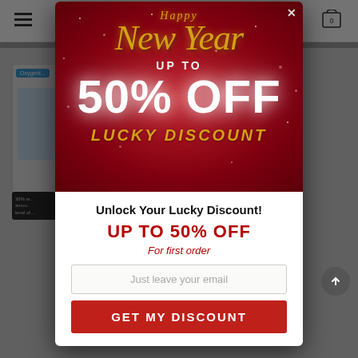[Figure (screenshot): Blurred e-commerce website background with navigation header, hamburger menu, shopping cart icon, and product card visible behind popup overlay]
[Figure (infographic): Happy New Year promotional popup modal with red gradient background, gold sparkles, text 'Happy New Year', 'UP TO', '50% OFF', 'LUCKY DISCOUNT' in gold italic serif font]
Unlock Your Lucky Discount!
UP TO 50% OFF
For first order
Just leave your email
GET MY DISCOUNT